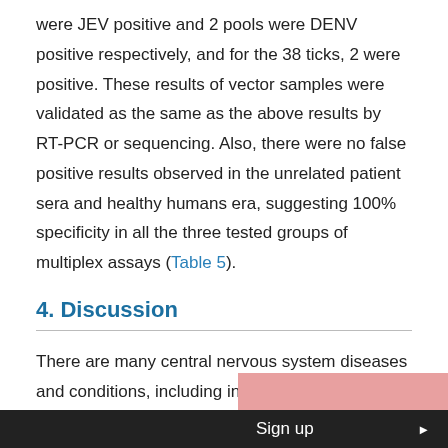were JEV positive and 2 pools were DENV positive respectively, and for the 38 ticks, 2 were positive. These results of vector samples were validated as the same as the above results by RT-PCR or sequencing. Also, there were no false positive results observed in the unrelated patient sera and healthy humans era, suggesting 100% specificity in all the three tested groups of multiplex assays (Table 5).
4. Discussion
There are many central nervous system diseases and conditions, including infections of the central nervous system such as encephalitis. Arboviral Encephalitis Viruses are member of animal viruses, including flaviviruses, phlebovirus, orthobunyavirus, and the alphaviruses. And mostly Arboviral Encephalitis Viruses may